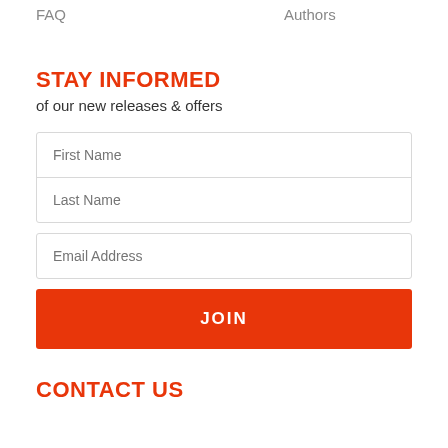FAQ    Authors
STAY INFORMED
of our new releases & offers
First Name
Last Name
Email Address
JOIN
CONTACT US